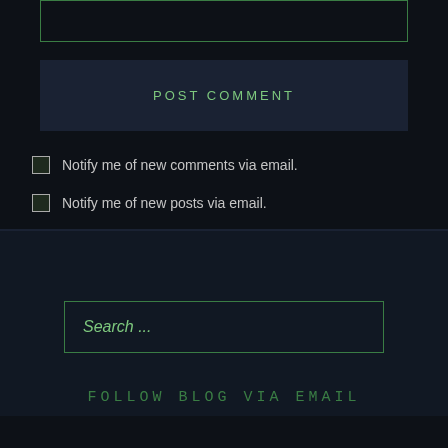[Figure (screenshot): Text input box with green border on dark background]
POST COMMENT
Notify me of new comments via email.
Notify me of new posts via email.
[Figure (screenshot): Search input box with green border and placeholder text 'Search ...']
FOLLOW BLOG VIA EMAIL